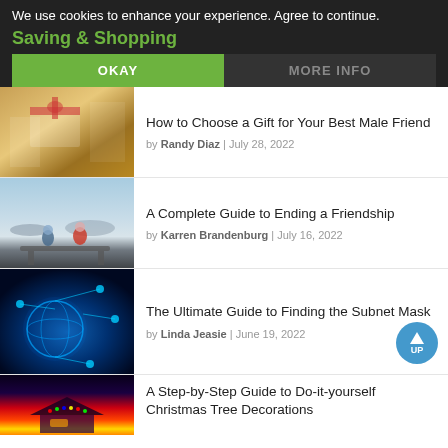We use cookies to enhance your experience. Agree to continue.
Saving & Shopping
OKAY
MORE INFO
[Figure (photo): Two people exchanging a gift]
How to Choose a Gift for Your Best Male Friend
by Randy Diaz | July 28, 2022
[Figure (photo): Two women sitting on a dock by the water]
A Complete Guide to Ending a Friendship
by Karren Brandenburg | July 16, 2022
[Figure (photo): Digital network globe with glowing connections]
The Ultimate Guide to Finding the Subnet Mask
by Linda Jeasie | June 19, 2022
[Figure (photo): House decorated with Christmas lights]
A Step-by-Step Guide to Do-it-yourself Christmas Tree Decorations